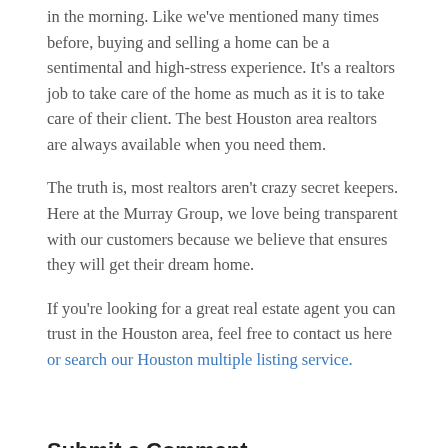in the morning. Like we've mentioned many times before, buying and selling a home can be a sentimental and high-stress experience. It's a realtors job to take care of the home as much as it is to take care of their client. The best Houston area realtors are always available when you need them.
The truth is, most realtors aren't crazy secret keepers. Here at the Murray Group, we love being transparent with our customers because we believe that ensures they will get their dream home.
If you're looking for a great real estate agent you can trust in the Houston area, feel free to contact us here or search our Houston multiple listing service.
Submit a Comment
Your email address will not be published. Required fields are marked *